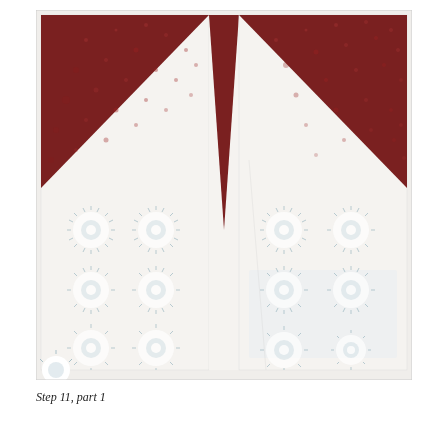[Figure (photo): Two patchwork quilt block panels side by side showing a step in assembly. Each panel has a dark red/maroon triangle of patterned fabric at the top and a white/light fabric with circular sun-like pattern below. A narrow white strip separates the two panels in the center.]
Step 11, part 1